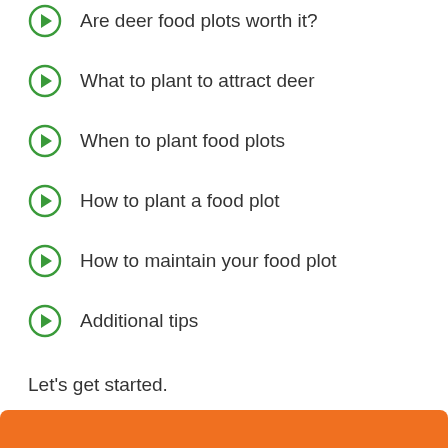Are deer food plots worth it?
What to plant to attract deer
When to plant food plots
How to plant a food plot
How to maintain your food plot
Additional tips
Let's get started.